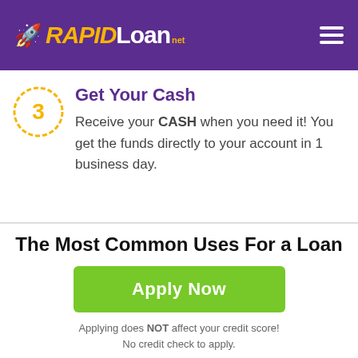RAPIDLoan.net
Get Your Cash
Receive your CASH when you need it! You get the funds directly to your account in 1 business day.
The Most Common Uses For a Loan
Apply Now
Applying does NOT affect your credit score! No credit check to apply.